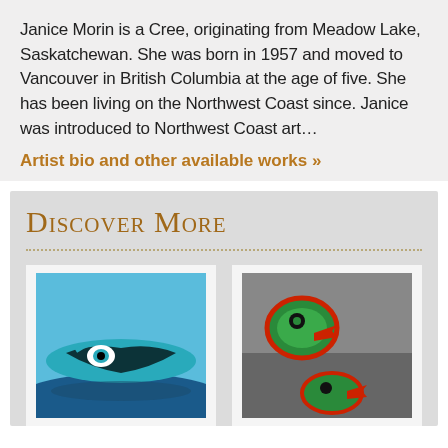Janice Morin is a Cree, originating from Meadow Lake, Saskatchewan. She was born in 1957 and moved to Vancouver in British Columbia at the age of five. She has been living on the Northwest Coast since. Janice was introduced to Northwest Coast art…
Artist bio and other available works »
Discover More
[Figure (photo): Northwest Coast art canoe with black, white and teal/turquoise design on water with mountains in background]
[Figure (photo): Northwest Coast art ceremonial items with green, red, and black colors on rocky surface]